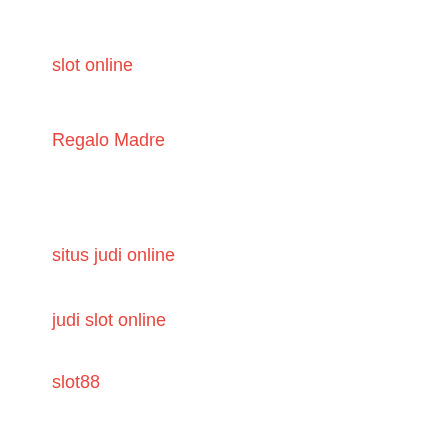slot online
Regalo Madre
situs judi online
judi slot online
slot88
slot online gacor
keluaran sgp